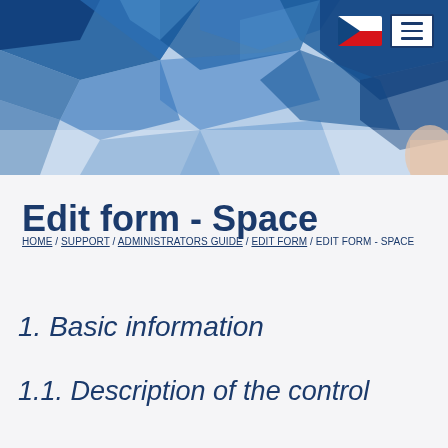[Figure (illustration): Blue polygonal geometric header banner with Czech flag and hamburger menu icon in top right corner]
Edit form - Space
HOME / SUPPORT / ADMINISTRATORS GUIDE / EDIT FORM / EDIT FORM - SPACE
1. Basic information
1.1. Description of the control